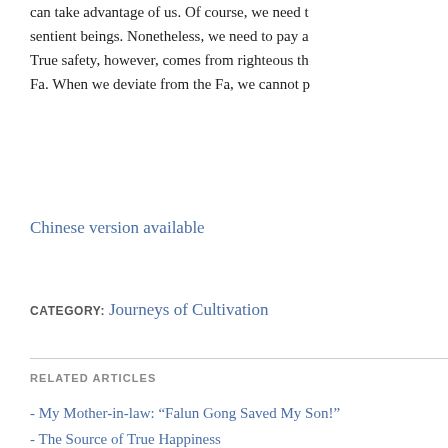can take advantage of us. Of course, we need to sentient beings. Nonetheless, we need to pay a True safety, however, comes from righteous th Fa. When we deviate from the Fa, we cannot p
Chinese version available
CATEGORY: Journeys of Cultivation
RELATED ARTICLES
- My Mother-in-law: “Falun Gong Saved My Son!”
- The Source of True Happiness
- Chinese Medicine Doctor in Taiwan: “This Book
- Even Tribulations Are Opportunities to Save Peo
- Stubborn Husband: No Words Can Express My
- Cultivating Dafa Helped Me Out of My Desperat